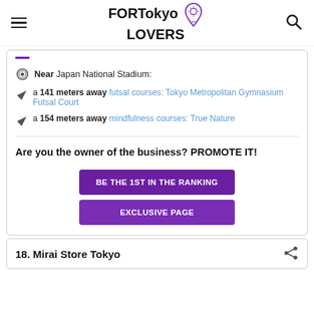FORTokyo LOVERS
Near Japan National Stadium:
a 141 meters away futsal courses: Tokyo Metropolitan Gymnasium Futsal Court
a 154 meters away mindfulness courses: True Nature
Are you the owner of the business? PROMOTE IT!
BE THE 1ST IN THE RANKING
EXCLUSIVE PAGE
18. Mirai Store Tokyo